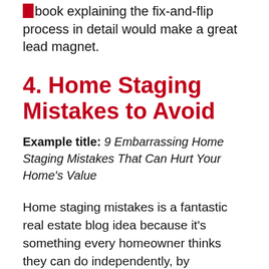book explaining the fix-and-flip process in detail would make a great lead magnet.
4. Home Staging Mistakes to Avoid
Example title: 9 Embarrassing Home Staging Mistakes That Can Hurt Your Home's Value
Home staging mistakes is a fantastic real estate blog idea because it's something every homeowner thinks they can do independently, by themselves. The reality, of course, is that home staging can be very difficult and extremely expensive. This is definitely something that most homeowners don't even